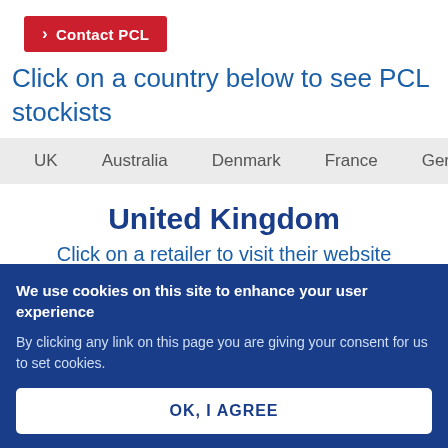[Figure (other): Red button labeled 'Contact PCL' with a right-pointing arrow]
Click on a country below to see PCL stockists
UK   Australia   Denmark   France   German
United Kingdom
Click on a retailer to visit their website directly
We use cookies on this site to enhance your user experience
By clicking any link on this page you are giving your consent for us to set cookies.
OK, I AGREE